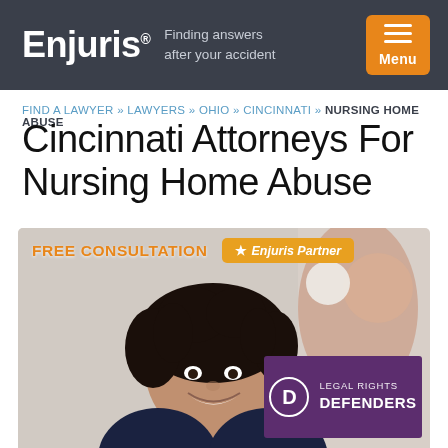Enjuris® — Finding answers after your accident — Menu
FIND A LAWYER » LAWYERS » OHIO » CINCINNATI » NURSING HOME ABUSE
Cincinnati Attorneys For Nursing Home Abuse
[Figure (photo): A smiling female attorney with dark curly hair in a dark jacket, overlaid with a FREE CONSULTATION badge and Enjuris Partner badge at the top, and a Legal Rights Defenders logo (purple square with D circle and text) in the lower right.]